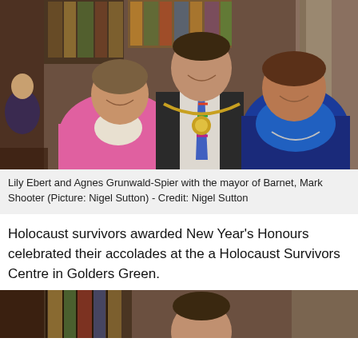[Figure (photo): Lily Ebert and Agnes Grunwald-Spier posing with the mayor of Barnet, Mark Shooter, who is wearing a mayoral chain. Two older women flank the man in the center; the woman on the left wears a pink jacket, and the woman on the right wears a blue top and dark jacket.]
Lily Ebert and Agnes Grunwald-Spier with the mayor of Barnet, Mark Shooter (Picture: Nigel Sutton) - Credit: Nigel Sutton
Holocaust survivors awarded New Year's Honours celebrated their accolades at the a Holocaust Survivors Centre in Golders Green.
[Figure (photo): Partial view of the same indoor setting with stained glass windows, showing the top of a man's head.]